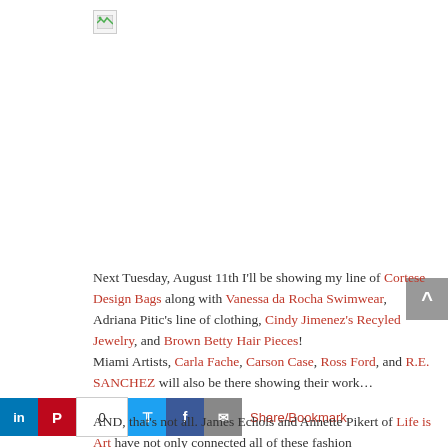[Figure (other): Broken image placeholder icon in top left area]
Next Tuesday, August 11th I'll be showing my line of Cortese Design Bags along with Vanessa da Rocha Swimwear, Adriana Pitic's line of clothing, Cindy Jimenez's Recyled Jewelry, and Brown Betty Hair Pieces!
Miami Artists, Carla Fache, Carson Case, Ross Ford, and R.E. SANCHEZ will also be there showing their work…
[Figure (infographic): Social sharing bar with LinkedIn, Pinterest, count (0), Twitter, Facebook, Email buttons and Share/Bookmark link]
AND, that's not all. James Echols and Annette Pikert of Life is Art have not only connected all of these fashion